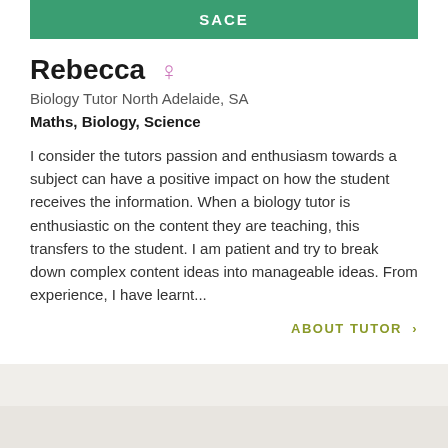SACE
Rebecca ♀
Biology Tutor North Adelaide, SA
Maths, Biology, Science
I consider the tutors passion and enthusiasm towards a subject can have a positive impact on how the student receives the information. When a biology tutor is enthusiastic on the content they are teaching, this transfers to the student. I am patient and try to break down complex content ideas into manageable ideas. From experience, I have learnt...
ABOUT TUTOR >